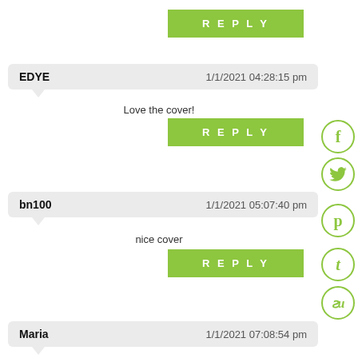REPLY
EDYE — 1/1/2021 04:28:15 pm
Love the cover!
REPLY
bn100 — 1/1/2021 05:07:40 pm
nice cover
REPLY
Maria — 1/1/2021 07:08:54 pm